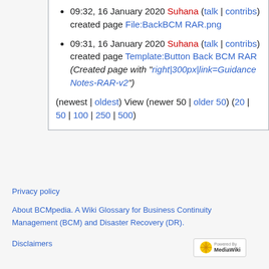09:32, 16 January 2020 Suhana (talk | contribs) created page File:BackBCM RAR.png
09:31, 16 January 2020 Suhana (talk | contribs) created page Template:Button Back BCM RAR (Created page with "right|300px|link=Guidance Notes-RAR-v2")
(newest | oldest) View (newer 50 | older 50) (20 | 50 | 100 | 250 | 500)
Privacy policy
About BCMpedia. A Wiki Glossary for Business Continuity Management (BCM) and Disaster Recovery (DR).
Disclaimers